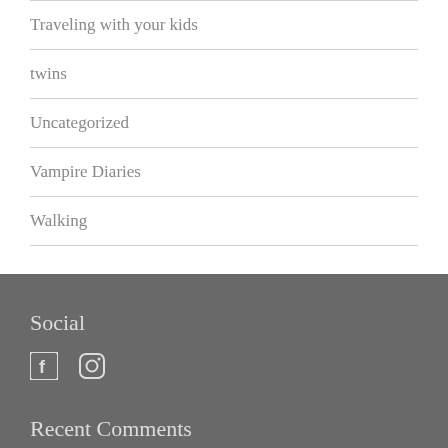Traveling with your kids
twins
Uncategorized
Vampire Diaries
Walking
Social
[Figure (illustration): Facebook and Instagram social media icons]
Recent Comments
[Figure (photo): Small avatar/thumbnail image at bottom]